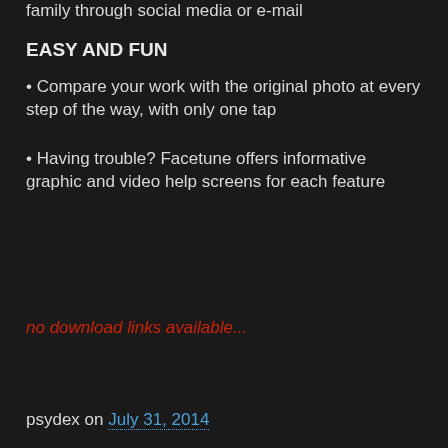family through social media or e-mail
EASY AND FUN
• Compare your work with the original photo at every step of the way, with only one tap
• Having trouble? Facetune offers informative graphic and video help screens for each feature
no download links available...
psydex on July 31, 2014